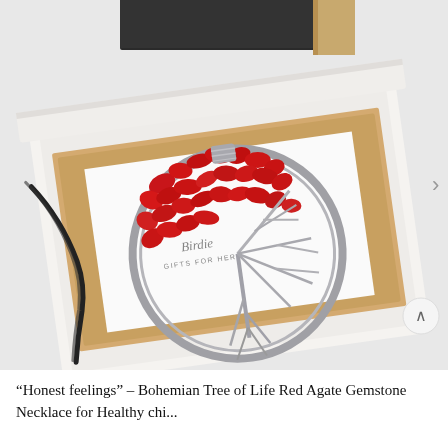[Figure (photo): A Tree of Life pendant necklace made with red agate gemstone chips wired into a circular silver-tone frame, displayed in a white gift box with a wooden-edged insert. A black cord is visible on the left side. A branded card with cursive text is visible behind the pendant. The box sits on a white surface with a dark-edged decorative book visible in the upper background.]
“Honest feelings” – Bohemian Tree of Life Red Agate Gemstone Necklace for Healthy chi...